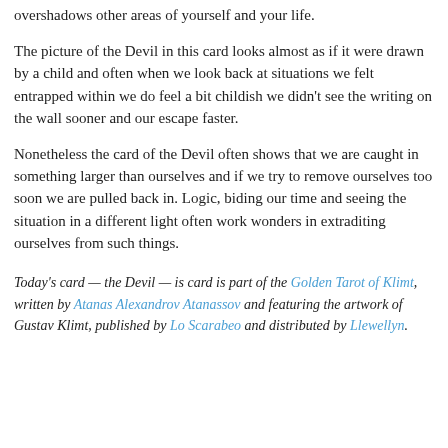overshadows other areas of yourself and your life.
The picture of the Devil in this card looks almost as if it were drawn by a child and often when we look back at situations we felt entrapped within we do feel a bit childish we didn't see the writing on the wall sooner and our escape faster.
Nonetheless the card of the Devil often shows that we are caught in something larger than ourselves and if we try to remove ourselves too soon we are pulled back in. Logic, biding our time and seeing the situation in a different light often work wonders in extraditing ourselves from such things.
Today’s card — the Devil — is card is part of the Golden Tarot of Klimt, written by Atanas Alexandrov Atanassov and featuring the artwork of Gustav Klimt, published by Lo Scarabeo and distributed by Llewellyn.